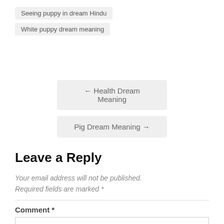Seeing puppy in dream Hindu
White puppy dream meaning
← Health Dream Meaning
Pig Dream Meaning →
Leave a Reply
Your email address will not be published. Required fields are marked *
Comment *